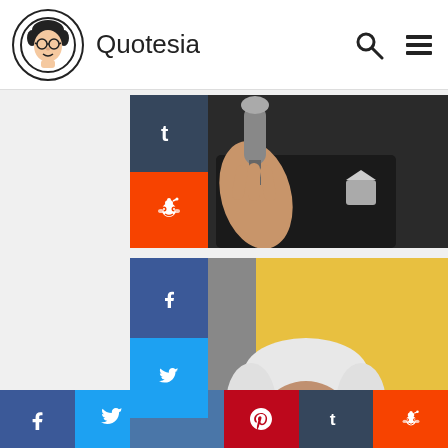Quotesia
[Figure (photo): Partial photo of a person holding a microphone, dark suit, with social sharing sidebar (Tumblr, Reddit)]
[Figure (photo): Photo of Bruce Kent, British Activist, elderly man with white hair at microphone, yellow background, with social sharing sidebar]
Bruce Kent
British Activist
Jun 22, 1929
Social share bar: Facebook, Twitter, VK, Pinterest, Tumblr, Reddit